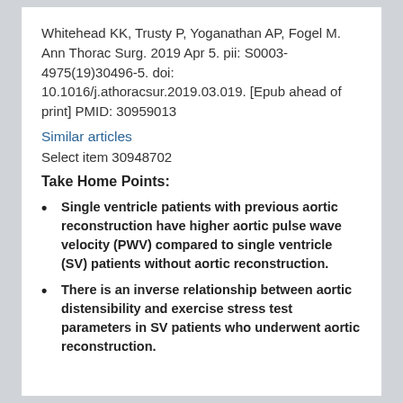Whitehead KK, Trusty P, Yoganathan AP, Fogel M. Ann Thorac Surg. 2019 Apr 5. pii: S0003-4975(19)30496-5. doi: 10.1016/j.athoracsur.2019.03.019. [Epub ahead of print] PMID: 30959013
Similar articles
Select item 30948702
Take Home Points:
Single ventricle patients with previous aortic reconstruction have higher aortic pulse wave velocity (PWV) compared to single ventricle (SV) patients without aortic reconstruction.
There is an inverse relationship between aortic distensibility and exercise stress test parameters in SV patients who underwent aortic reconstruction.